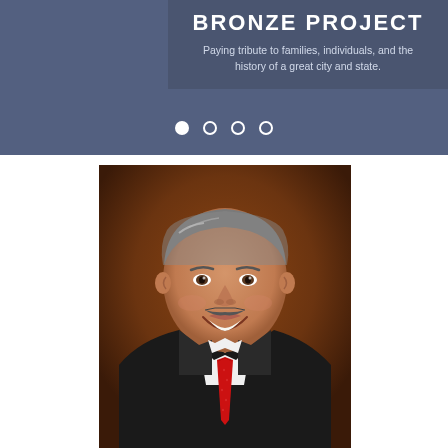BRONZE PROJECT
Paying tribute to families, individuals, and the history of a great city and state.
[Figure (photo): Professional headshot of a middle-aged man with grey hair and a mustache, wearing a dark suit with a red tie, smiling, against a brown background.]